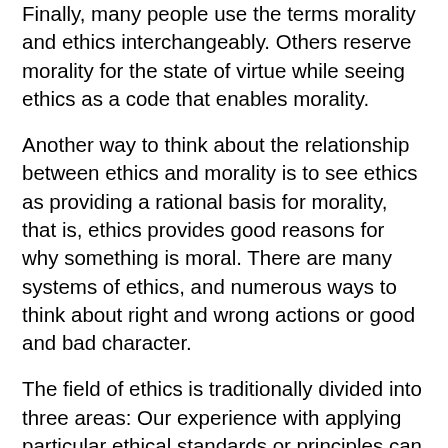Finally, many people use the terms morality and ethics interchangeably. Others reserve morality for the state of virtue while seeing ethics as a code that enables morality.
Another way to think about the relationship between ethics and morality is to see ethics as providing a rational basis for morality, that is, ethics provides good reasons for why something is moral. There are many systems of ethics, and numerous ways to think about right and wrong actions or good and bad character.
The field of ethics is traditionally divided into three areas: Our experience with applying particular ethical standards or principles can inform our understanding of how good these standard or principles are. Three Broad Types of Ethical Theory: Ethical theories are often broadly divided into three types: Each of these three broad categories contains varieties of approaches to ethics, some of which share characteristics across the categories.